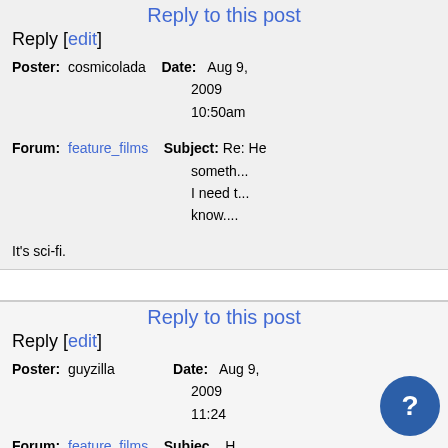Reply to this post
Reply [edit]
Poster: cosmicolada   Date: Aug 9, 2009 10:50am
Forum: feature_films   Subject: Re: He...something...I need t...know....
It's sci-fi.
Reply to this post
Reply [edit]
Poster: guyzilla   Date: Aug 9, 2009 11:24
Forum: feature_films   Subject: H...some